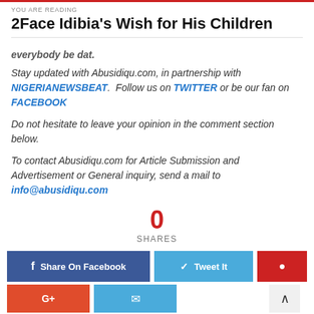YOU ARE READING
2Face Idibia's Wish for His Children
everybody be dat.
Stay updated with Abusidiqu.com, in partnership with NIGERIANEWSBEAT. Follow us on TWITTER or be our fan on FACEBOOK
Do not hesitate to leave your opinion in the comment section below.
To contact Abusidiqu.com for Article Submission and Advertisement or General inquiry, send a mail to info@abusidiqu.com
0 SHARES
Share On Facebook  Tweet It  Pinterest  G+  Email